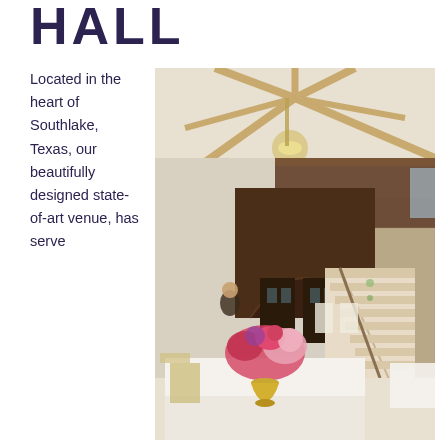HALL
Located in the heart of Southlake, Texas, our beautifully designed state-of-art venue, has serve
[Figure (photo): Interior of a large event hall with vaulted wooden beam ceiling, chandelier lighting, grand staircase, stone fireplace accent wall, and floral centerpiece arrangement in gold vase on a white table in the foreground. People visible in the background.]